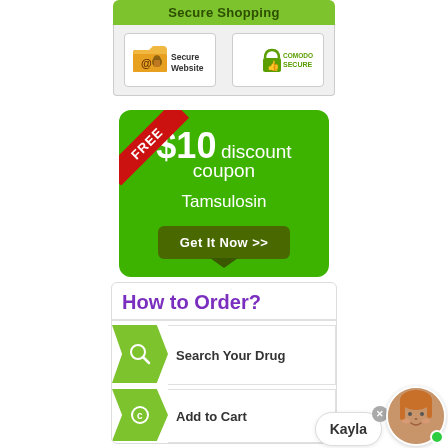[Figure (infographic): Secure Shopping badge area with green header and two security badges: Secure Website and Comodo Secure]
[Figure (infographic): FREE $10 discount coupon for Tamsulosin with green background, red FREE ribbon, and Get It Now button]
[Figure (infographic): How to Order? section with purple heading, green chevron steps: Search Your Drug, Add to Cart]
[Figure (infographic): Kayla chat assistant avatar with speech bubble showing her name and online green dot indicator]